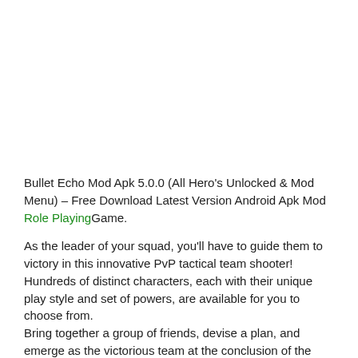Bullet Echo Mod Apk 5.0.0 (All Hero's Unlocked & Mod Menu) – Free Download Latest Version Android Apk Mod Role PlayingGame.
As the leader of your squad, you'll have to guide them to victory in this innovative PvP tactical team shooter! Hundreds of distinct characters, each with their unique play style and set of powers, are available for you to choose from.
Bring together a group of friends, devise a plan, and emerge as the victorious team at the conclusion of the fight.
These persons were involved in the development of the program:
Just a handful of the games accessible are Crash Arena Turbo Stars, King of Thieves, Cut the Rope, and many more besides.